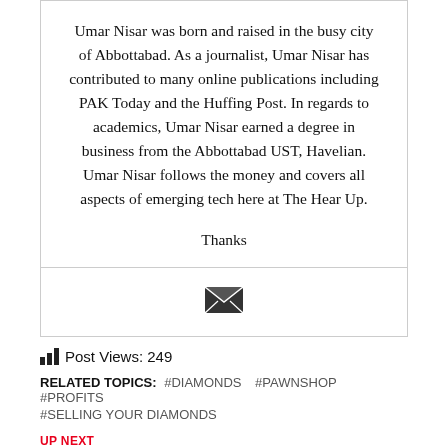Umar Nisar was born and raised in the busy city of Abbottabad. As a journalist, Umar Nisar has contributed to many online publications including PAK Today and the Huffing Post. In regards to academics, Umar Nisar earned a degree in business from the Abbottabad UST, Havelian. Umar Nisar follows the money and covers all aspects of emerging tech here at The Hear Up.
Thanks
[Figure (illustration): Envelope/email icon]
Post Views: 249
RELATED TOPICS:  #DIAMONDS  #PAWNSHOP  #PROFITS  #SELLING YOUR DIAMONDS
UP NEXT
How to Care for Your Professional AV Control Solutions
DON'T MISS
6 Must-Follow Tips To Choose The Best Kratom Vendors